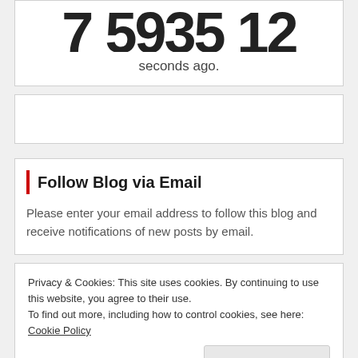[Figure (other): Large bold numbers partially visible at top of a card widget showing a countdown or timestamp, cropped]
seconds ago.
[Figure (other): Empty white card / advertisement placeholder]
Follow Blog via Email
Please enter your email address to follow this blog and receive notifications of new posts by email.
Privacy & Cookies: This site uses cookies. By continuing to use this website, you agree to their use.
To find out more, including how to control cookies, see here: Cookie Policy
Close and accept
Join 379 other subscribers